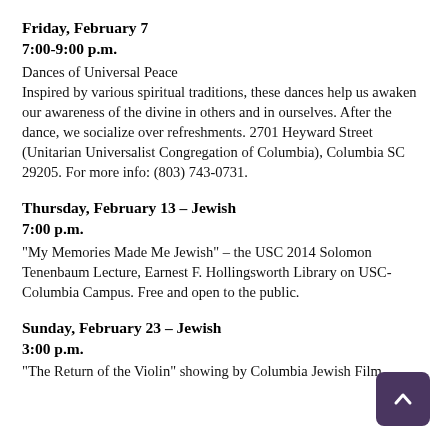Friday, February 7
7:00-9:00 p.m.
Dances of Universal Peace
Inspired by various spiritual traditions, these dances help us awaken our awareness of the divine in others and in ourselves. After the dance, we socialize over refreshments. 2701 Heyward Street (Unitarian Universalist Congregation of Columbia), Columbia SC 29205. For more info: (803) 743-0731.
Thursday, February 13 – Jewish
7:00 p.m.
“My Memories Made Me Jewish” – the USC 2014 Solomon Tenenbaum Lecture, Earnest F. Hollingsworth Library on USC-Columbia Campus.  Free and open to the public.
Sunday, February 23 – Jewish
3:00 p.m.
“The Return of the Violin” showing by Columbia Jewish Film